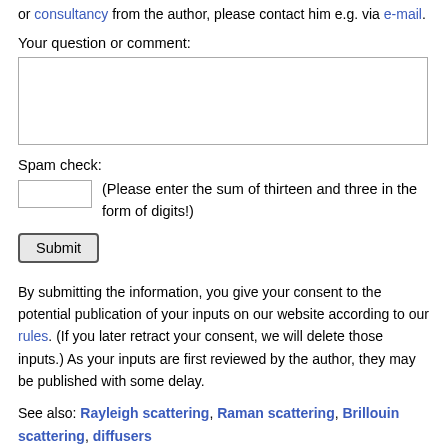or consultancy from the author, please contact him e.g. via e-mail.
Your question or comment:
Spam check:
(Please enter the sum of thirteen and three in the form of digits!)
Submit
By submitting the information, you give your consent to the potential publication of your inputs on our website according to our rules. (If you later retract your consent, we will delete those inputs.) As your inputs are first reviewed by the author, they may be published with some delay.
See also: Rayleigh scattering, Raman scattering, Brillouin scattering, diffusers
and other articles in the category: general optics